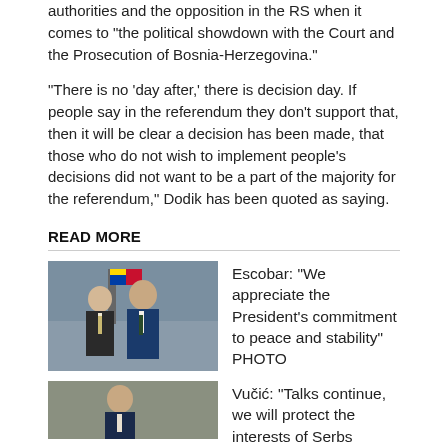authorities and the opposition in the RS when it comes to "the political showdown with the Court and the Prosecution of Bosnia-Herzegovina."
"There is no 'day after,' there is decision day. If people say in the referendum they don't support that, then it will be clear a decision has been made, that those who do not wish to implement people's decisions did not want to be a part of the majority for the referendum," Dodik has been quoted as saying.
READ MORE
[Figure (photo): Two men in suits standing together with flags in the background]
Escobar: "We appreciate the President's commitment to peace and stability" PHOTO
[Figure (photo): Man in suit, partially visible]
Vučić: "Talks continue, we will protect the interests of Serbs